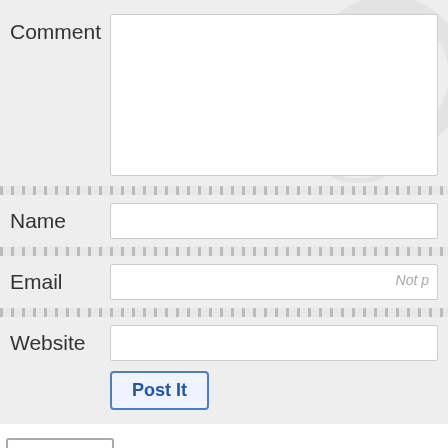Comment
Name
Email
Website
Post It
17 Replies — 0 Comments — 0 Tweets — 0 Facebook
0 Pingbacks
last
Warning: Declaration of Social_Walker_Comment::start_lvl(&$output, $depth, $args compatible with Walker_Comment::start_lvl(&$output, $depth = 0, $args = Array) in /home/geekytattoos/geekytattoos.com/wp-content/plugins/social/lib/social/walker/c